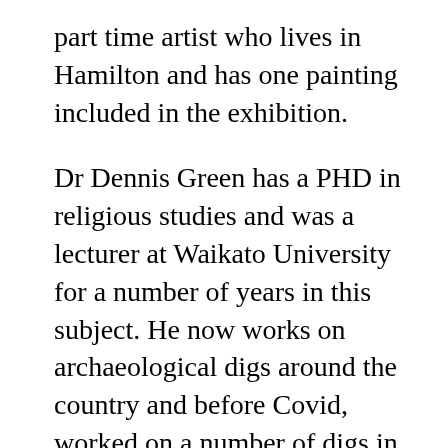part time artist who lives in Hamilton and has one painting included in the exhibition.
Dr Dennis Green has a PHD in religious studies and was a lecturer at Waikato University for a number of years in this subject. He now works on archaeological digs around the country and before Covid, worked on a number of digs in Israel. He is one of NZs leading authorities on Dead Sea Scrolls.
Square Edges is showing in the small gallery at CAN (Creative Arts Napier) in